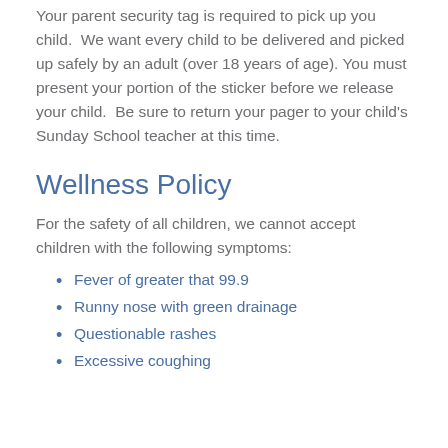Your parent security tag is required to pick up your child.  We want every child to be delivered and picked up safely by an adult (over 18 years of age).  You must present your portion of the sticker before we release your child.  Be sure to return your pager to your child's Sunday School teacher at this time.
Wellness Policy
For the safety of all children, we cannot accept children with the following symptoms:
Fever of greater that 99.9
Runny nose with green drainage
Questionable rashes
Excessive coughing